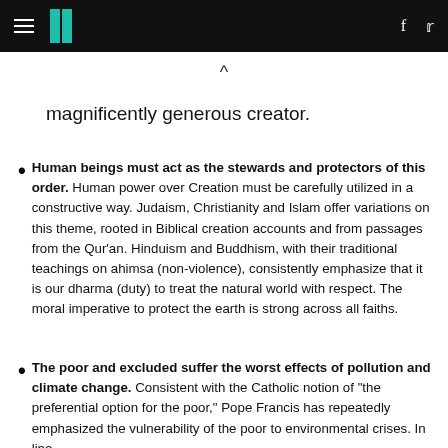HuffPost header with hamburger menu, logo, facebook and twitter icons
magnificently generous creator.
Human beings must act as the stewards and protectors of this order. Human power over Creation must be carefully utilized in a constructive way. Judaism, Christianity and Islam offer variations on this theme, rooted in Biblical creation accounts and from passages from the Qur'an. Hinduism and Buddhism, with their traditional teachings on ahimsa (non-violence), consistently emphasize that it is our dharma (duty) to treat the natural world with respect. The moral imperative to protect the earth is strong across all faiths.
The poor and excluded suffer the worst effects of pollution and climate change. Consistent with the Catholic notion of "the preferential option for the poor," Pope Francis has repeatedly emphasized the vulnerability of the poor to environmental crises. In line